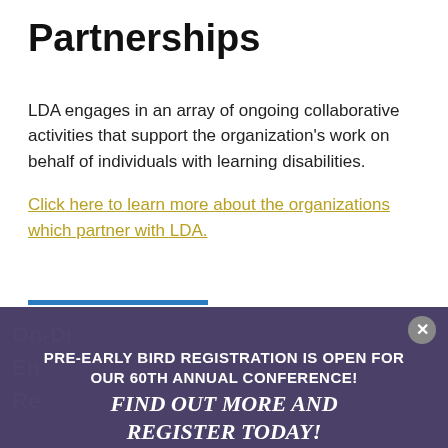Partnerships
LDA engages in an array of ongoing collaborative activities that support the organization's work on behalf of individuals with learning disabilities.
Click here to learn more about the organizations which partner with LDA.
PRE-EARLY BIRD REGISTRATION IS OPEN FOR OUR 60TH ANNUAL CONFERENCE!
FIND OUT MORE AND REGISTER TODAY!